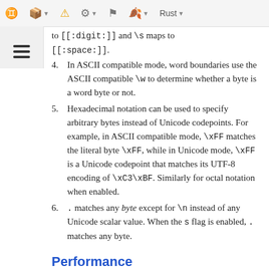Toolbar with icons: cube, warning, settings, flag, leaf, Rust
to [[:digit:]] and \s maps to [[:space:]].
4. In ASCII compatible mode, word boundaries use the ASCII compatible \w to determine whether a byte is a word byte or not.
5. Hexadecimal notation can be used to specify arbitrary bytes instead of Unicode codepoints. For example, in ASCII compatible mode, \xFF matches the literal byte \xFF, while in Unicode mode, \xFF is a Unicode codepoint that matches its UTF-8 encoding of \xC3\xBF. Similarly for octal notation when enabled.
6. . matches any byte except for \n instead of any Unicode scalar value. When the s flag is enabled, . matches any byte.
Performance